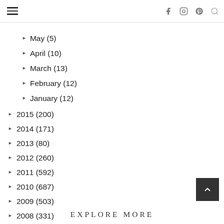Navigation header with hamburger menu and social icons (Facebook, Instagram, Pinterest, Search)
July (5)
June (7)
May (5)
April (10)
March (13)
February (12)
January (12)
2015 (200)
2014 (171)
2013 (80)
2012 (260)
2011 (592)
2010 (687)
2009 (503)
2008 (331)
2007 (191)
EXPLORE MORE